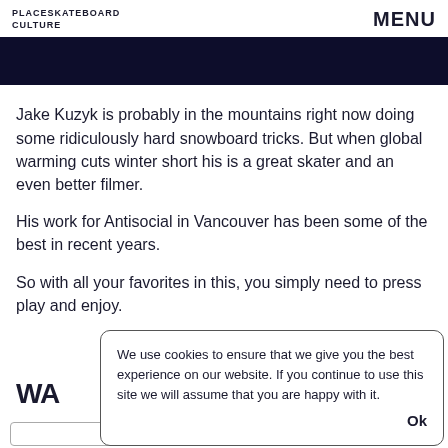PLACESKATEBOARD CULTURE  MENU
Jake Kuzyk is probably in the mountains right now doing some ridiculously hard snowboard tricks. But when global warming cuts winter short his is a great skater and an even better filmer.
His work for Antisocial in Vancouver has been some of the best in recent years.
So with all your favorites in this, you simply need to press play and enjoy.
We use cookies to ensure that we give you the best experience on our website. If you continue to use this site we will assume that you are happy with it.  Ok
WA